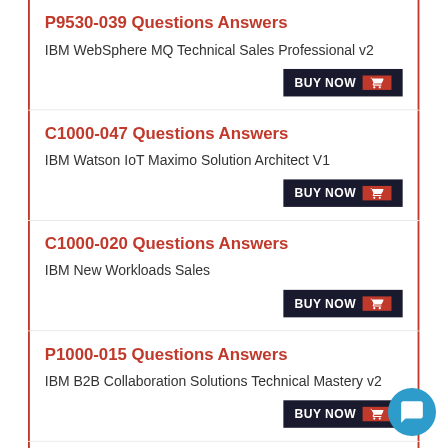P9530-039 Questions Answers
IBM WebSphere MQ Technical Sales Professional v2
C1000-047 Questions Answers
IBM Watson IoT Maximo Solution Architect V1
C1000-020 Questions Answers
IBM New Workloads Sales
P1000-015 Questions Answers
IBM B2B Collaboration Solutions Technical Mastery v2
C7010-013 Questions Answers
IBM Curam V6 0 5 Business Analysis and